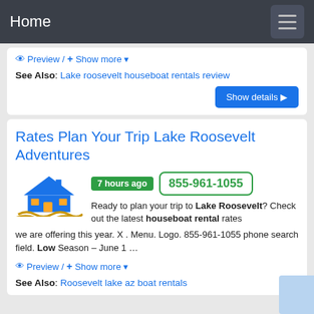Home
Preview / + Show more
See Also: Lake roosevelt houseboat rentals review
Show details
Rates Plan Your Trip Lake Roosevelt Adventures
7 hours ago
855-961-1055
Ready to plan your trip to Lake Roosevelt? Check out the latest houseboat rental rates we are offering this year. X . Menu. Logo. 855-961-1055 phone search field. Low Season – June 1 …
Preview / + Show more
See Also: Roosevelt lake az boat rentals